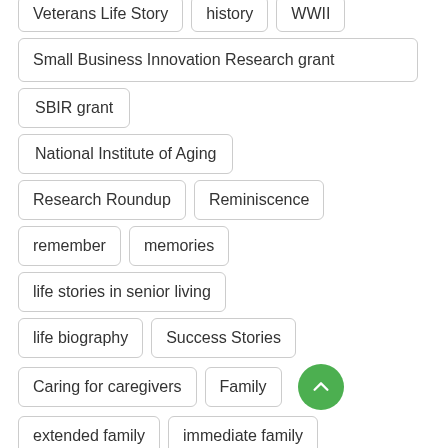Veterans Life Story
history
WWII
Small Business Innovation Research grant
SBIR grant
National Institute of Aging
Research Roundup
Reminiscence
remember
memories
life stories in senior living
life biography
Success Stories
Caring for caregivers
Family
extended family
immediate family